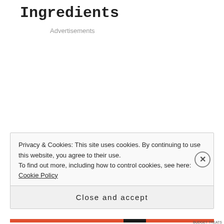Ingredients
Advertisements
Privacy & Cookies: This site uses cookies. By continuing to use this website, you agree to their use.
To find out more, including how to control cookies, see here: Cookie Policy
Close and accept